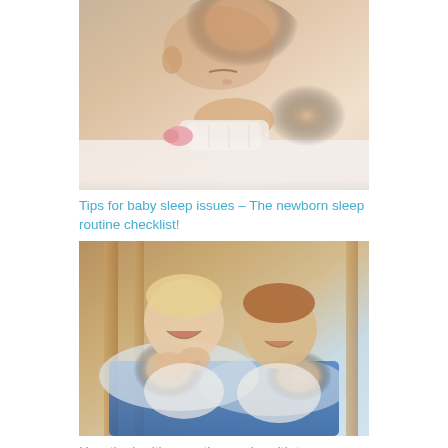[Figure (photo): Close-up of a sleeping baby lying on a white surface, holding a baby bottle with a pink nipple]
Tips for baby sleep issues – The newborn sleep routine checklist!
[Figure (photo): Two young toddlers laughing and playing together while lying in a wooden crib with blue and white bedding]
How the bedtime routine works with two